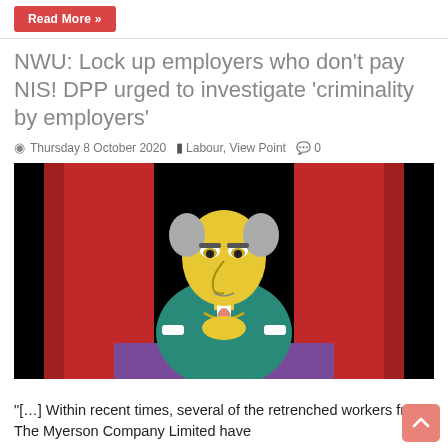Read More »
NWU: Lock up employers who don't pay NIS! DPP urged to investigate 'criminality by employers'
Thursday 8 October 2020  Labour, View Point  0
[Figure (illustration): Cartoon illustration of Mr. Burns from The Simpsons seated at a desk with red curtains in the background, against a black background.]
"[…] Within recent times, several of the retrenched workers from The Myerson Company Limited have